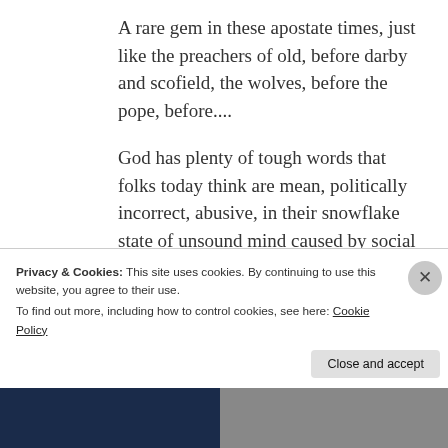A rare gem in these apostate times, just like the preachers of old, before darby and scofield, the wolves, before the pope, before....
God has plenty of tough words that folks today think are mean, politically incorrect, abusive, in their snowflake state of unsound mind caused by social engineering in the last century. Some would call many words in the NT hate, that is because they reject the Truth.
Privacy & Cookies: This site uses cookies. By continuing to use this website, you agree to their use.
To find out more, including how to control cookies, see here: Cookie Policy